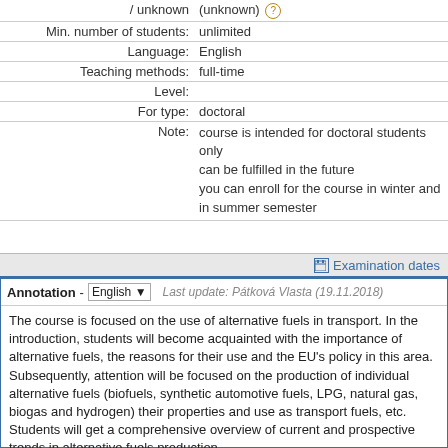| / unknown | (unknown) ? |
| Min. number of students: | unlimited |
| Language: | English |
| Teaching methods: | full-time |
| Level: |  |
| For type: | doctoral |
| Note: | course is intended for doctoral students only
can be fulfilled in the future
you can enroll for the course in winter and in summer semester |
Examination dates
Annotation - English  Last update: Pátková Vlasta (19.11.2018)
The course is focused on the use of alternative fuels in transport. In the introduction, students will become acquainted with the importance of alternative fuels, the reasons for their use and the EU's policy in this area. Subsequently, attention will be focused on the production of individual alternative fuels (biofuels, synthetic automotive fuels, LPG, natural gas, biogas and hydrogen) their properties and use as transport fuels, etc. Students will get a comprehensive overview of current and prospective trends in alternative fuels production.